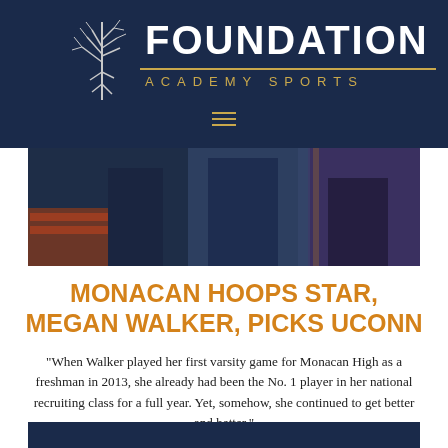FOUNDATION ACADEMY SPORTS
[Figure (photo): Sports photo showing players/coaches in dark uniforms, partially visible]
MONACAN HOOPS STAR, MEGAN WALKER, PICKS UCONN
"When Walker played her first varsity game for Monacan High as a freshman in 2013, she already had been the No. 1 player in her national recruiting class for a full year. Yet, somehow, she continued to get better and better."